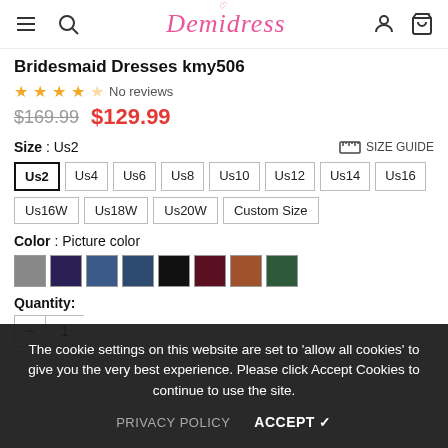Demidress
Bridesmaid Dresses kmy506
☆☆☆☆☆ No reviews
$169.99  $129.99
Size : Us2
SIZE GUIDE
Us2 Us4 Us6 Us8 Us10 Us12 Us14 Us16 Us16W Us18W Us20W Custom Size
Color : Picture color
Quantity:
1
The cookie settings on this website are set to 'allow all cookies' to give you the very best experience. Please click Accept Cookies to continue to use the site. PRIVACY POLICY ACCEPT ✓